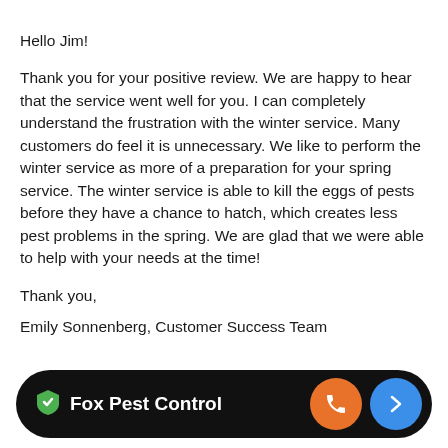Hello Jim!
Thank you for your positive review. We are happy to hear that the service went well for you. I can completely understand the frustration with the winter service. Many customers do feel it is unnecessary. We like to perform the winter service as more of a preparation for your spring service. The winter service is able to kill the eggs of pests before they have a chance to hatch, which creates less pest problems in the spring. We are glad that we were able to help with your needs at the time!
Thank you,

Emily Sonnenberg, Customer Success Team
[Figure (logo): Fox Pest Control footer bar with shield logo, brand name, orange phone button, and blue arrow button]